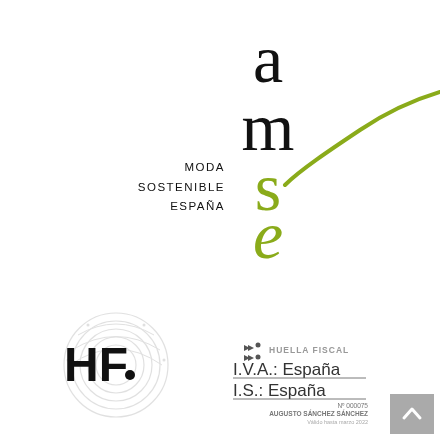[Figure (logo): AMSE - Moda Sostenible España logo. Stacked letters 'a', 'm', 's', 'e' in serif black font, with 's' and 'e' rendered in olive/yellow-green color, and a sweeping green calligraphic curve extending to the right. Text 'MODA SOSTENIBLE ESPAÑA' appears to the left of the logo letters.]
[Figure (logo): Huella Fiscal badge. A fingerprint graphic on the left with 'HF' bold letters overlaid. To the right: small triangular arrow icons, text 'HUELLA FISCAL', then 'I.V.A.: España' and 'I.S.: España' underlined, followed by 'Nº 000075', 'AUGUSTO SÁNCHEZ SÁNCHEZ', 'Válido hasta marzo 2022'.]